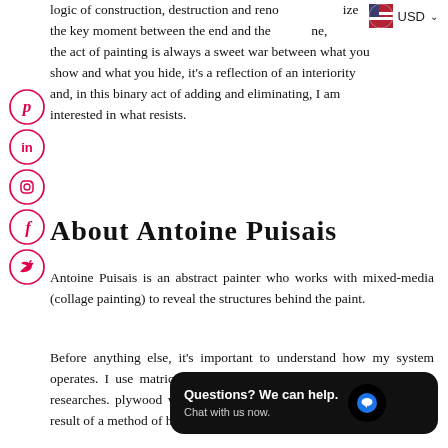logic of construction, destruction and reno… ize the key moment between the end and the … ne, the act of painting is always a sweet war between what you show and what you hide, it's a reflection of an interiority and, in this binary act of adding and eliminating, I am interested in what resists.
[Figure (infographic): Currency selector UI showing USD with US flag]
[Figure (infographic): Social media icons column: Pinterest, LinkedIn, Instagram, Facebook, Twitter — all in red circle outlines]
About Antoine Puisais
Antoine Puisais is an abstract painter who works with mixed-media (collage painting) to reveal the structures behind the paint.
Before anything else, it's important to understand how my system operates. I use matrices to transfer on to canvas the results of my researches. … plywood which act as stamps. S… these canvases is the result of a method of haphazard
[Figure (screenshot): Chat widget overlay: 'Questions? We can help. Chat with us now.' with blue chat bubble icon on dark background]